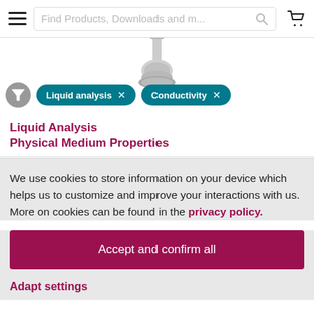Find Products, Downloads and m...
[Figure (photo): Product image of a conductivity sensor probe (silver/grey, stem with round base), partially visible at top of page]
Liquid analysis × Conductivity ×
Liquid Analysis Physical Medium Properties
We use cookies to store information on your device which helps us to customize and improve your interactions with us. More on cookies can be found in the privacy policy.
Accept and confirm all
Adapt settings